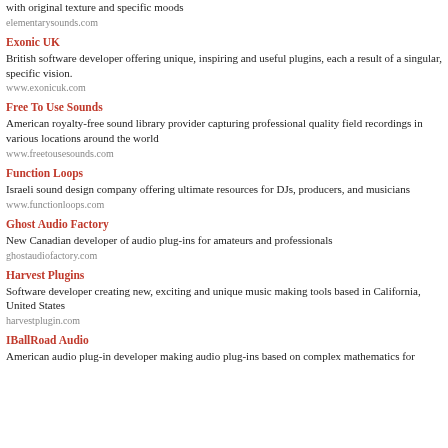with original texture and specific moods
elementarysounds.com
Exonic UK
British software developer offering unique, inspiring and useful plugins, each a result of a singular, specific vision.
www.exonicuk.com
Free To Use Sounds
American royalty-free sound library provider capturing professional quality field recordings in various locations around the world
www.freetousesounds.com
Function Loops
Israeli sound design company offering ultimate resources for DJs, producers, and musicians
www.functionloops.com
Ghost Audio Factory
New Canadian developer of audio plug-ins for amateurs and professionals
ghostaudiofactory.com
Harvest Plugins
Software developer creating new, exciting and unique music making tools based in California, United States
harvestplugin.com
IBallRoad Audio
American audio plug-in developer making audio plug-ins based on complex mathematics for